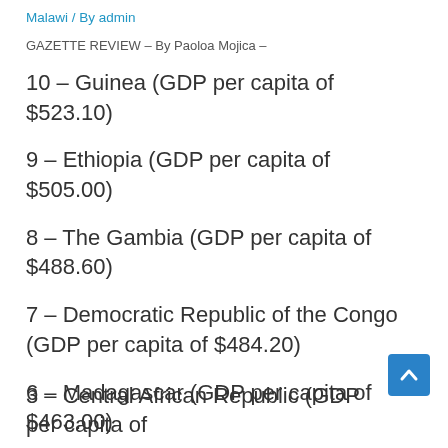Malawi / By admin
GAZETTE REVIEW – By Paoloa Mojica –
10 – Guinea (GDP per capita of $523.10)
9 – Ethiopia (GDP per capita of $505.00)
8 – The Gambia (GDP per capita of $488.60)
7 – Democratic Republic of the Congo (GDP per capita of $484.20)
6 – Madagascar (GDP per capita of $463.00)
5 – Liberia (GDP per capita of $454.30)
4 – Niger (GDP per capita of $415.40)
3 – Central African Republic (GDP per capita of